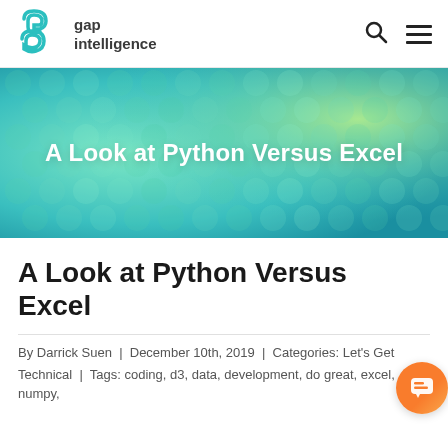gap intelligence
[Figure (illustration): Banner image with python snake skin texture in blue-green tones, with article title 'A Look at Python Versus Excel' overlaid in white bold text]
A Look at Python Versus Excel
By Darrick Suen | December 10th, 2019 | Categories: Let's Get
Technical | Tags: coding, d3, data, development, do great, excel, numpy,